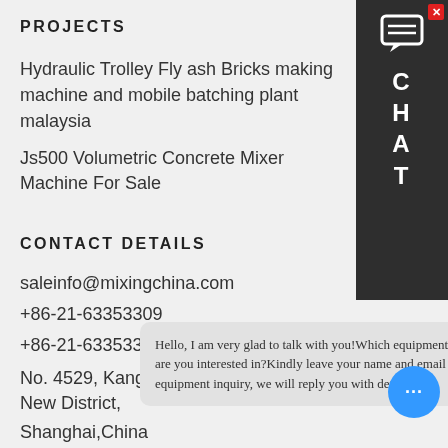PROJECTS
Hydraulic Trolley Fly ash Bricks making machine and mobile batching plant malaysia
Js500 Volumetric Concrete Mixer Machine For Sale
CONTACT DETAILS
saleinfo@mixingchina.com
+86-21-63353309
+86-21-63353309
No. 4529, Kangxin Highway, Pudong New District,
Shanghai,China
Hello, I am very glad to talk with you!Which equipment are you interested in?Kindly leave your name and email & equipment inquiry, we will reply you with detail.